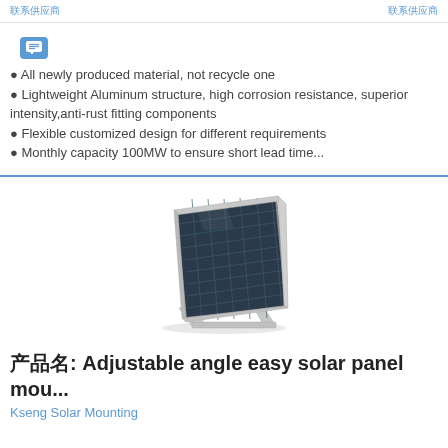联系供应商 / 联系供应商
All newly produced material, not recycle one
Lightweight Aluminum structure, high corrosion resistance, superior intensity,anti-rust fitting components
Flexible customized design for different requirements
Monthly capacity 100MW to ensure short lead time...
[Figure (photo): Adjustable angle solar panel mounting bracket with solar panel, shown at an angle on a white background]
产品名: Adjustable angle easy solar panel mou...
Kseng Solar Mounting